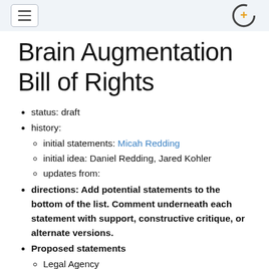[hamburger menu button] [C+ logo]
Brain Augmentation Bill of Rights
status: draft
history:
initial statements: Micah Redding
initial idea: Daniel Redding, Jared Kohler
updates from:
directions: Add potential statements to the bottom of the list. Comment underneath each statement with support, constructive critique, or alternate versions.
Proposed statements
Legal Agency